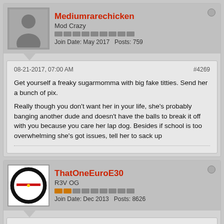Mediumrarechicken
Mod Crazy
Join Date: May 2017   Posts: 759
08-21-2017, 07:00 AM
#4269
Get yourself a freaky sugarmomma with big fake titties. Send her a bunch of pix.
Really though you don't want her in your life, she's probably banging another dude and doesn't have the balls to break it off with you because you care her lap dog. Besides if school is too overwhelming she's got issues, tell her to sack up
ThatOneEuroE30
R3V OG
Join Date: Dec 2013   Posts: 8626
08-21-2017, 12:13 PM
#4270
Welding mask V. Eclipse was a success although i only looked for like 2